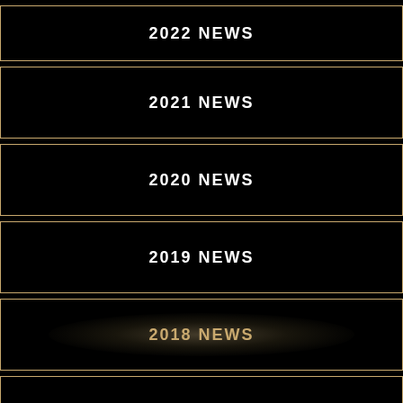2022 NEWS
2021 NEWS
2020 NEWS
2019 NEWS
2018 NEWS
2017 NEWS
2016 NEWS